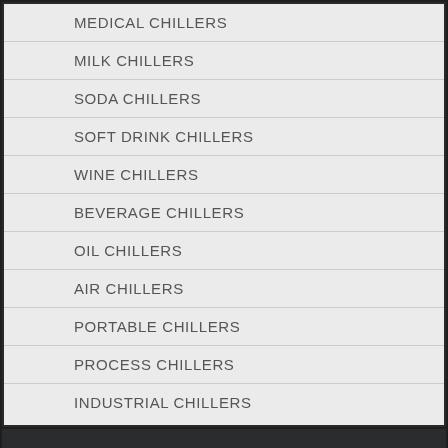MEDICAL CHILLERS
MILK CHILLERS
SODA CHILLERS
SOFT DRINK CHILLERS
WINE CHILLERS
BEVERAGE CHILLERS
OIL CHILLERS
AIR CHILLERS
PORTABLE CHILLERS
PROCESS CHILLERS
INDUSTRIAL CHILLERS
Office Address
SANTHA ENGINEERING
NO. 8, Rathinam Garden 1st Street,